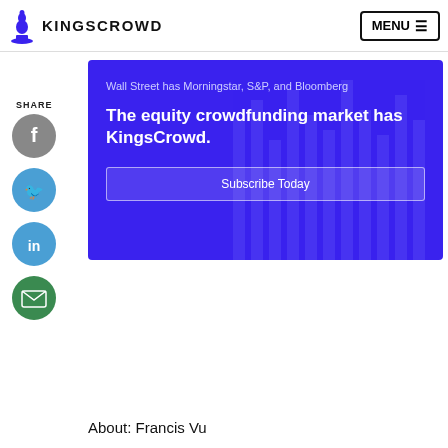KINGSCROWD | MENU
[Figure (infographic): KingsCrowd promotional banner with blue background. Text: 'Wall Street has Morningstar, S&P, and Bloomberg. The equity crowdfunding market has KingsCrowd.' with a Subscribe Today button.]
SHARE
[Figure (infographic): Social share icons: Facebook, Twitter, LinkedIn, Email]
About: Francis Vu